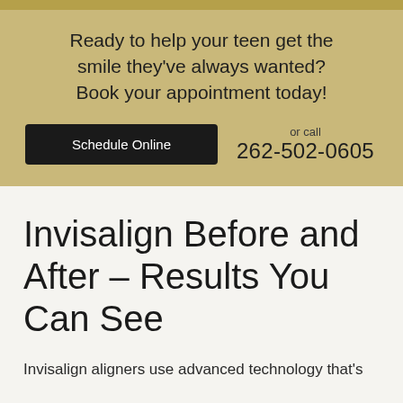Ready to help your teen get the smile they've always wanted? Book your appointment today!
Schedule Online
or call
262-502-0605
Invisalign Before and After – Results You Can See
Invisalign aligners use advanced technology that's